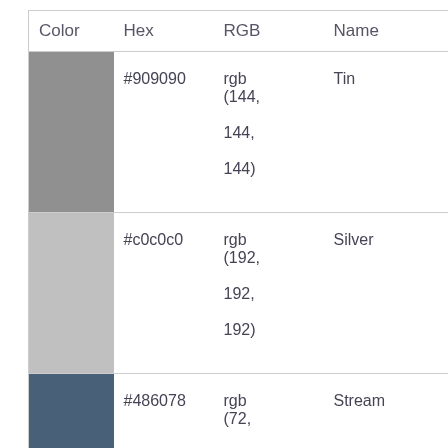| Color | Hex | RGB | Name |
| --- | --- | --- | --- |
| [swatch #909090] | #909090 | rgb (144, 144, 144) | Tin |
| [swatch #c0c0c0] | #c0c0c0 | rgb (192, 192, 192) | Silver |
| [swatch #486078] | #486078 | rgb (72, | Stream |